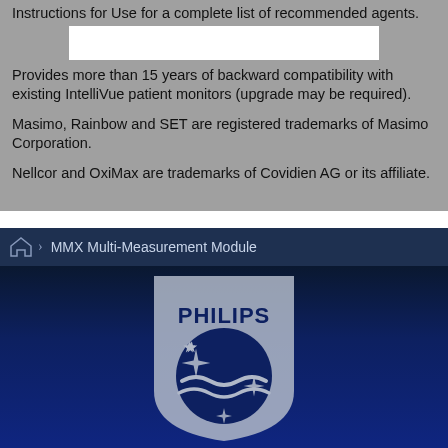Instructions for Use for a complete list of recommended agents.
Provides more than 15 years of backward compatibility with existing IntelliVue patient monitors (upgrade may be required).
Masimo, Rainbow and SET are registered trademarks of Masimo Corporation.
Nellcor and OxiMax are trademarks of Covidien AG or its affiliate.
MMX Multi-Measurement Module
[Figure (logo): Philips shield logo with star and wave design on dark navy blue background]